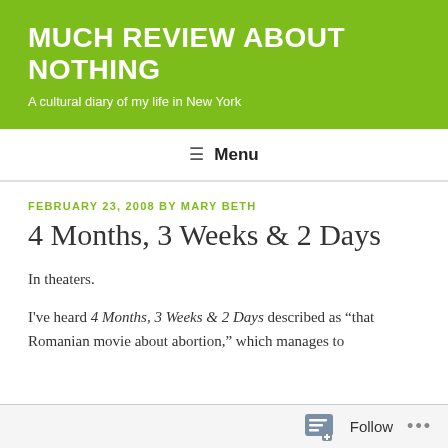MUCH REVIEW ABOUT NOTHING
A cultural diary of my life in New York
≡ Menu
FEBRUARY 23, 2008 BY MARY BETH
4 Months, 3 Weeks & 2 Days
In theaters.
I've heard 4 Months, 3 Weeks & 2 Days described as “that Romanian movie about abortion,” which manages to
Follow ...